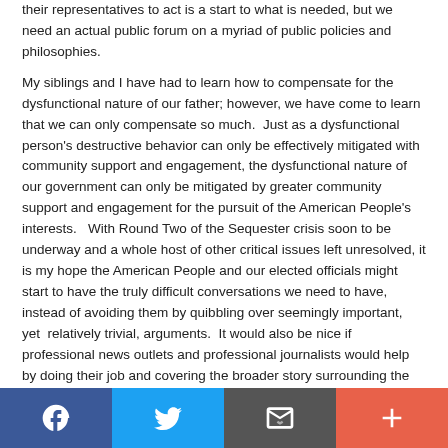their representatives to act is a start to what is needed, but we need an actual public forum on a myriad of public policies and philosophies.
My siblings and I have had to learn how to compensate for the dysfunctional nature of our father; however, we have come to learn that we can only compensate so much.  Just as a dysfunctional person's destructive behavior can only be effectively mitigated with community support and engagement, the dysfunctional nature of our government can only be mitigated by greater community support and engagement for the pursuit of the American People's interests.   With Round Two of the Sequester crisis soon to be underway and a whole host of other critical issues left unresolved, it is my hope the American People and our elected officials might start to have the truly difficult conversations we need to have, instead of avoiding them by quibbling over seemingly important, yet  relatively trivial, arguments.  It would also be nice if professional news outlets and professional journalists would help by doing their job and covering the broader story surrounding the Sequester.  The Sequester will pass with relatively minor, albeit extremely painful and destructive, consequences, but the underlying issues behind the budgetary crisis will still need to be
[Figure (other): Social sharing bar with Facebook, Twitter, Email, and plus/share buttons]